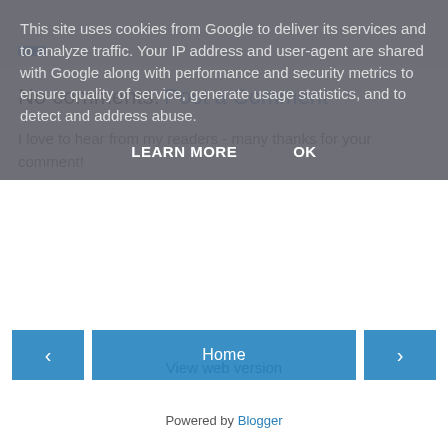This site uses cookies from Google to deliver its services and to analyze traffic. Your IP address and user-agent are shared with Google along with performance and security metrics to ensure quality of service, generate usage statistics, and to detect and address abuse.
LEARN MORE   OK
No comments:
Post a Comment
I love to hear from my readers - many thanks for your comment!
‹   Home   ›
View web version
Powered by Blogger